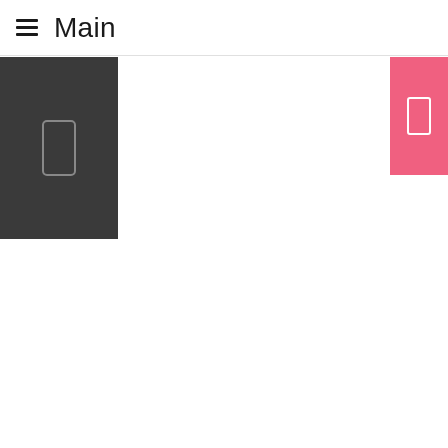Main
[Figure (screenshot): Dark gray left panel with a phone/tablet outline icon in gray]
[Figure (screenshot): Pink/coral right button panel with a white phone/tablet outline icon]